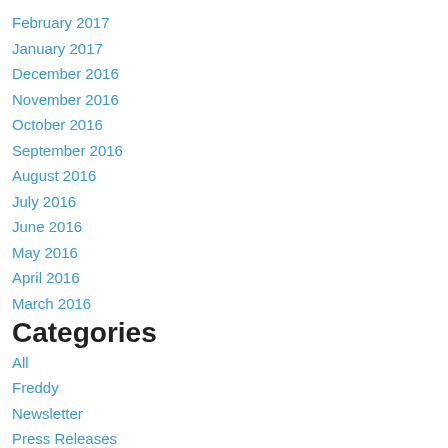February 2017
January 2017
December 2016
November 2016
October 2016
September 2016
August 2016
July 2016
June 2016
May 2016
April 2016
March 2016
Categories
All
Freddy
Newsletter
Press Releases
Roxanne